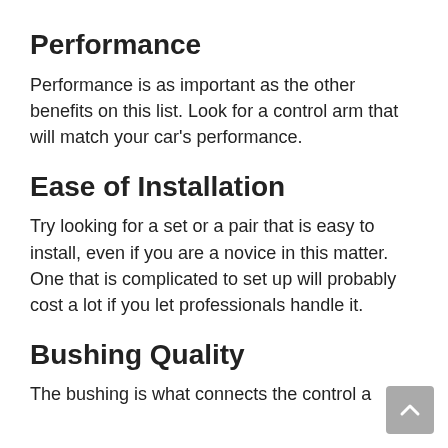Performance
Performance is as important as the other benefits on this list. Look for a control arm that will match your car's performance.
Ease of Installation
Try looking for a set or a pair that is easy to install, even if you are a novice in this matter. One that is complicated to set up will probably cost a lot if you let professionals handle it.
Bushing Quality
The bushing is what connects the control...